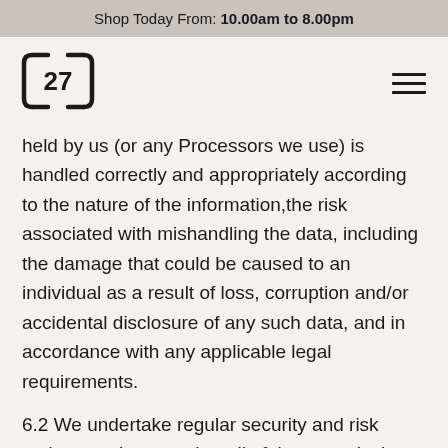Shop Today From: 10.00am to 8.00pm
[Figure (logo): Store logo with number 27 inside a rounded square bracket design]
held by us (or any Processors we use) is handled correctly and appropriately according to the nature of the information,the risk associated with mishandling the data, including the damage that could be caused to an individual as a result of loss, corruption and/or accidental disclosure of any such data, and in accordance with any applicable legal requirements.
6.2 We undertake regular security and risk reviews and we monitor all of the controls that we have in